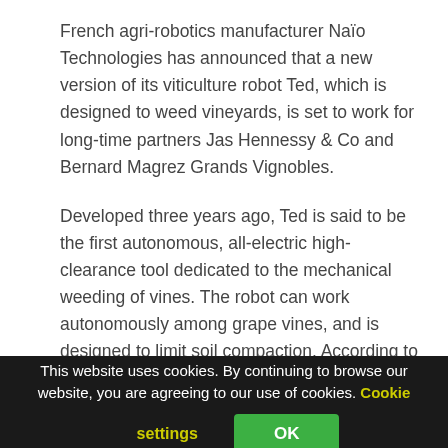French agri-robotics manufacturer Naïo Technologies has announced that a new version of its viticulture robot Ted, which is designed to weed vineyards, is set to work for long-time partners Jas Hennessy & Co and Bernard Magrez Grands Vignobles.
Developed three years ago, Ted is said to be the first autonomous, all-electric high-clearance tool dedicated to the mechanical weeding of vines. The robot can work autonomously among grape vines, and is designed to limit soil compaction. According to Naïo, the electrical weeder is also
This website uses cookies. By continuing to browse our website, you are agreeing to our use of cookies. Cookie settings OK